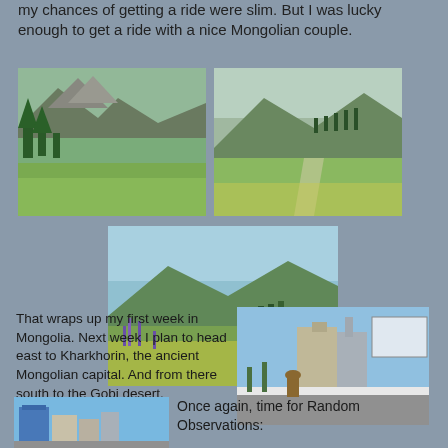my chances of getting a ride were slim. But I was lucky enough to get a ride with a nice Mongolian couple.
[Figure (photo): Rocky mountain landscape with trees and dirt path in Mongolia]
[Figure (photo): Green valley with mountains and winding road in Mongolia]
[Figure (photo): Wildflower meadow with mountains and valley in background, Mongolia]
That wraps up my first week in Mongolia. Next week I plan to head east to Kharkhorin, the ancient Mongolian capital. And from there south to the Gobi desert.
[Figure (photo): City street scene with person on horseback, buildings and billboard in background, Mongolia]
[Figure (photo): Mongolian city buildings with blue sky]
Once again, time for Random Observations: